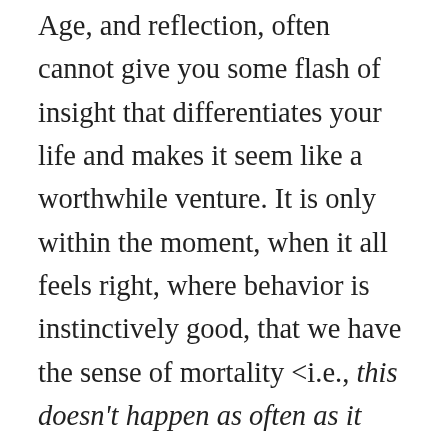Age, and reflection, often cannot give you some flash of insight that differentiates your life and makes it seem like a worthwhile venture. It is only within the moment, when it all feels right, where behavior is instinctively good, that we have the sense of mortality <i.e., this doesn't happen as often as it used to> and immortality <i.e., I want this feeling to last forever>. Yeah. That's an odd <paradox> of aging — the moments of 'really good' are actually the moments in which you most recognize your mortality. This 'within the moment' thing inevitably means that part